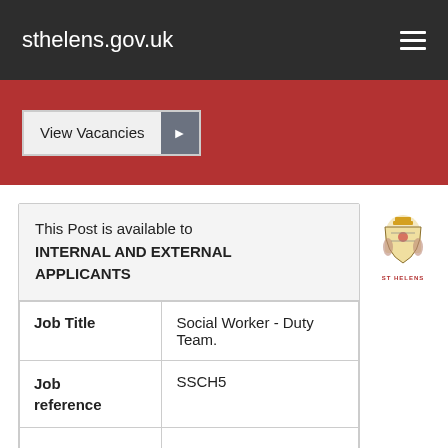sthelens.gov.uk
View Vacancies
This Post is available to INTERNAL AND EXTERNAL APPLICANTS
|  |  |
| --- | --- |
| Job Title | Social Worker - Duty Team. |
| Job reference | SSCH5 |
[Figure (logo): St Helens Council coat of arms logo with red text ST HELENS below]